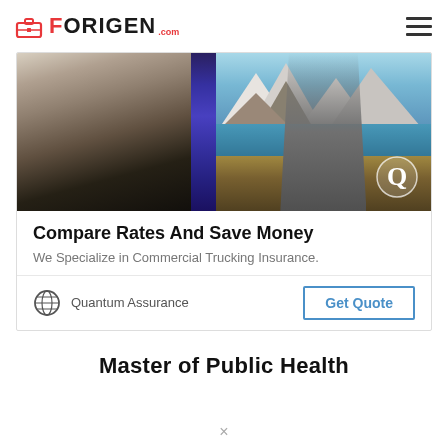FORIGEN.com
[Figure (photo): Commercial trucking photo: large semi-trucks on left side, scenic mountain road with teal water and snowy peaks on right side. Quantum Assurance Q logo watermark in bottom-right corner.]
Compare Rates And Save Money
We Specialize in Commercial Trucking Insurance.
Quantum Assurance
Get Quote
Master of Public Health